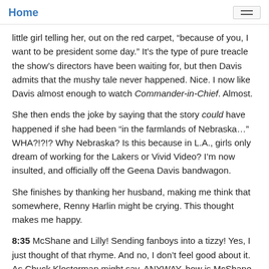Home
little girl telling her, out on the red carpet, “because of you, I want to be president some day.” It’s the type of pure treacle the show’s directors have been waiting for, but then Davis admits that the mushy tale never happened. Nice. I now like Davis almost enough to watch Commander-in-Chief. Almost.
She then ends the joke by saying that the story could have happened if she had been “in the farmlands of Nebraska…” WHA?!?!? Why Nebraska? Is this because in L.A., girls only dream of working for the Lakers or Vivid Video? I’m now insulted, and officially off the Geena Davis bandwagon.
She finishes by thanking her husband, making me think that somewhere, Renny Harlin might be crying. This thought makes me happy.
8:35 McShane and Lilly! Sending fanboys into a tizzy! Yes, I just thought of that rhyme. And no, I don’t feel good about it. As Chuck Klosterman might say, ANYWAY, how is McShane handing out the Globe for Best Actor, TV Drama? He should be accepting it for himself instead. I don’t see how this makes sense. To compound my outrage, House’s overacting Hugh Laurie wins instead of Keifer Sutherland! This is a